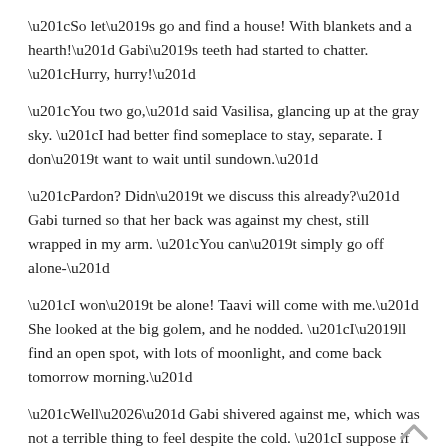“So let’s go and find a house! With blankets and a hearth!” Gabi’s teeth had started to chatter. “Hurry, hurry!”
“You two go,” said Vasilisa, glancing up at the gray sky. “I had better find someplace to stay, separate. I don’t want to wait until sundown.”
“Pardon? Didn’t we discuss this already?” Gabi turned so that her back was against my chest, still wrapped in my arm. “You can’t simply go off alone-”
“I won’t be alone! Taavi will come with me.” She looked at the big golem, and he nodded. “I’ll find an open spot, with lots of moonlight, and come back tomorrow morning.”
“Well…” Gabi shivered against me, which was not a terrible thing to feel despite the cold. “I suppose if that’s the way you want to do it… But be careful! Don’t go in the same direction she did!”
Vasilisa gave her a sort of peculiar look.
“I won’t. Go on and find somewhere warm, the both of you.”